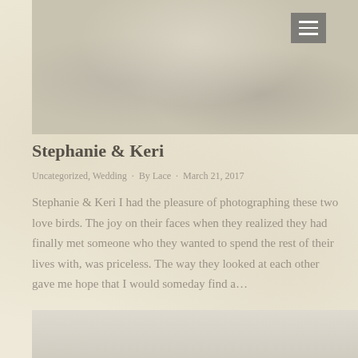[Figure (photo): Wedding photo of couple in black and white/sepia tone, cropped to show torsos, holding a bouquet, with foliage in background]
Stephanie & Keri
Uncategorized, Wedding · By Lace · March 21, 2017
Stephanie & Keri I had the pleasure of photographing these two love birds. The joy on their faces when they realized they had finally met someone who they wanted to spend the rest of their lives with, was priceless. The way they looked at each other gave me hope that I would someday find a…
[Figure (photo): Partially visible second photo at bottom of page, light gray/beige tones]